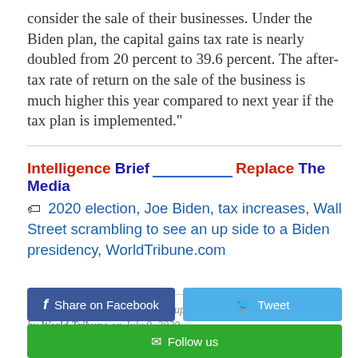consider the sale of their businesses. Under the Biden plan, the capital gains tax rate is nearly doubled from 20 percent to 39.6 percent. The after-tax rate of return on the sale of the business is much higher this year compared to next year if the tax plan is implemented."
[Figure (infographic): Intelligence Brief banner with red and blue text and underline decoration reading: Intelligence Brief [underline] Replace The Media]
2020 election, Joe Biden, tax increases, Wall Street scrambling to see an up side to a Biden presidency, WorldTribune.com
Wall Street scrambling to see an up side to a Biden presidency added by World Tribune on July 9, 2020
View all posts by World Tribune →
[Figure (infographic): Share buttons: Share on Facebook (dark blue), Tweet (light blue), Follow us (green)]